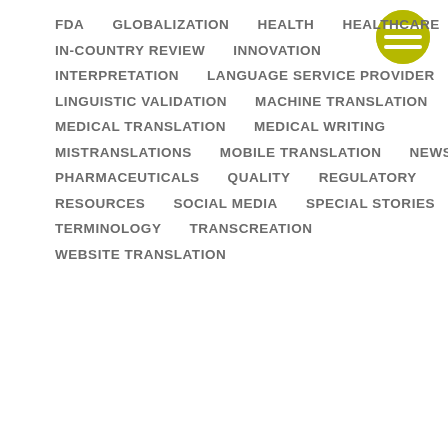[Figure (logo): Yellow/olive circle with three horizontal white lines (hamburger menu icon)]
FDA
GLOBALIZATION
HEALTH
HEALTHCARE
IN-COUNTRY REVIEW
INNOVATION
INTERPRETATION
LANGUAGE SERVICE PROVIDER
LINGUISTIC VALIDATION
MACHINE TRANSLATION
MEDICAL TRANSLATION
MEDICAL WRITING
MISTRANSLATIONS
MOBILE TRANSLATION
NEWS
PHARMACEUTICALS
QUALITY
REGULATORY
RESOURCES
SOCIAL MEDIA
SPECIAL STORIES
TERMINOLOGY
TRANSCREATION
WEBSITE TRANSLATION